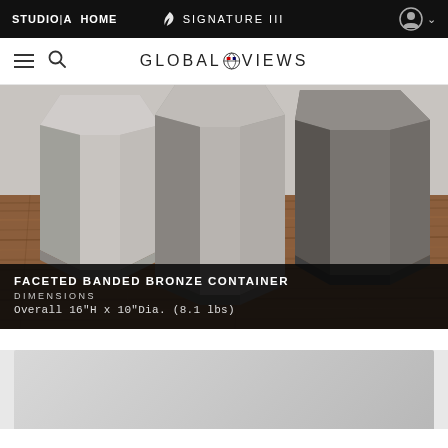STUDIO|A  HOME  SIGNATURE III
[Figure (logo): Global Views brand logo with globe icon]
[Figure (photo): Three faceted geometric concrete/bronze containers of varying shades (light gray, medium gray, dark gray) sitting on a wooden surface with wood grain visible]
FACETED BANDED BRONZE CONTAINER
DIMENSIONS
Overall 16"H x 10"Dia. (8.1 lbs)
[Figure (photo): Partial view of a light gray background, likely another product image beginning]